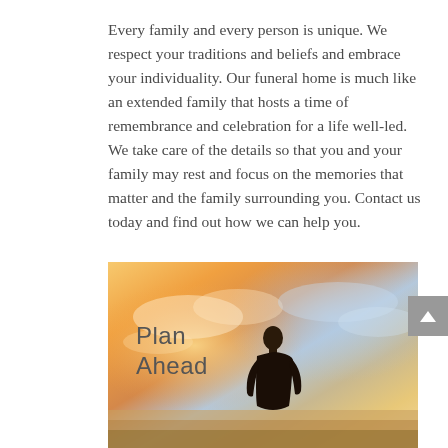Every family and every person is unique. We respect your traditions and beliefs and embrace your individuality. Our funeral home is much like an extended family that hosts a time of remembrance and celebration for a life well-led. We take care of the details so that you and your family may rest and focus on the memories that matter and the family surrounding you. Contact us today and find out how we can help you.
[Figure (photo): A scenic sunset photo with a silhouette of a person standing and looking toward the horizon, with warm golden and blue sky tones. Text overlay reads 'Plan Ahead'.]